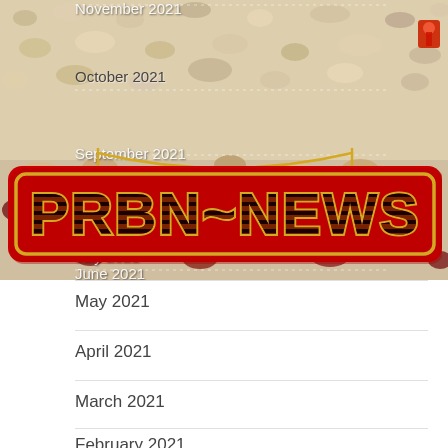November 2021
October 2021
[Figure (logo): PRBN~NEWS red sign with gold border and tiger-striped text, hanging from chains]
September 2021
August 2021
July 2021
June 2021
May 2021
April 2021
March 2021
February 2021